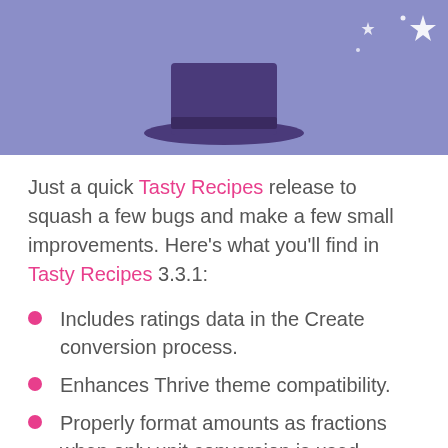[Figure (illustration): Purple/periwinkle banner background with a dark purple magician's top hat and sparkle stars in the upper right corner]
Just a quick Tasty Recipes release to squash a few bugs and make a few small improvements. Here's what you'll find in Tasty Recipes 3.3.1:
Includes ratings data in the Create conversion process.
Enhances Thrive theme compatibility.
Properly format amounts as fractions when only unit conversion is used.
Avoids appending the unit for the second…